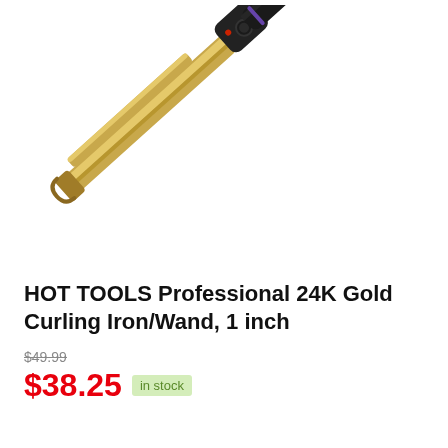[Figure (photo): HOT TOOLS Professional 24K Gold Curling Iron/Wand product photo. A diagonal curling iron with a gold metallic barrel and black handle grip, featuring the HOT TOOLS PROFESSIONAL branding on the handle. The handle is black with purple accent rings and a cord at the bottom.]
HOT TOOLS Professional 24K Gold Curling Iron/Wand, 1 inch
$49.99
$38.25  in stock